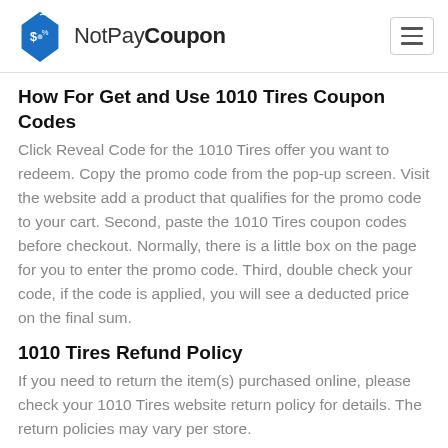NotPayCoupon
How For Get and Use 1010 Tires Coupon Codes
Click Reveal Code for the 1010 Tires offer you want to redeem. Copy the promo code from the pop-up screen. Visit the website add a product that qualifies for the promo code to your cart. Second, paste the 1010 Tires coupon codes before checkout. Normally, there is a little box on the page for you to enter the promo code. Third, double check your code, if the code is applied, you will see a deducted price on the final sum.
1010 Tires Refund Policy
If you need to return the item(s) purchased online, please check your 1010 Tires website return policy for details. The return policies may vary per store.
Expired 1010 Tires Coupon Codes:
Although these coupons have expired, they may still be valid and you can try to use them.